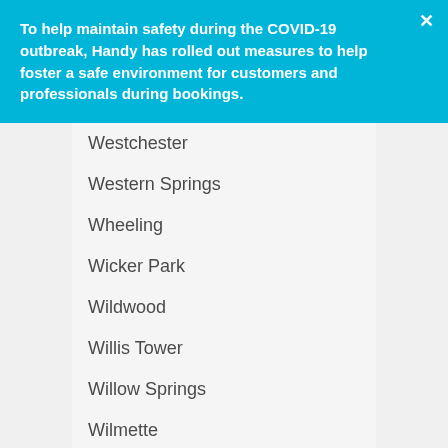To help maintain safety during the COVID-19 outbreak, Handy has rolled out measures to help foster a safe environment for customers and professionals during bookings.
Westchester
Western Springs
Wheeling
Wicker Park
Wildwood
Willis Tower
Willow Springs
Wilmette
Winnetka
Woodlawn
Worth
Wrightwood
Wrightwood Neighbors
Wrigleyville